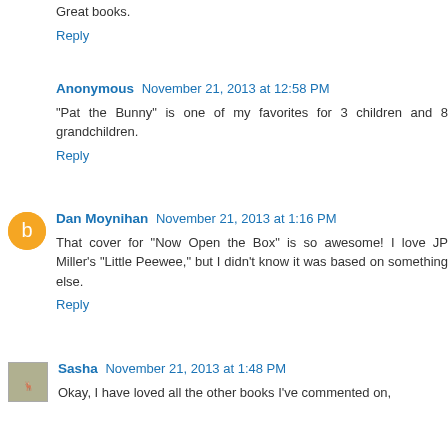Great books.
Reply
Anonymous November 21, 2013 at 12:58 PM
"Pat the Bunny" is one of my favorites for 3 children and 8 grandchildren.
Reply
Dan Moynihan November 21, 2013 at 1:16 PM
That cover for "Now Open the Box" is so awesome! I love JP Miller's "Little Peewee," but I didn't know it was based on something else.
Reply
Sasha November 21, 2013 at 1:48 PM
Okay, I have loved all the other books I've commented on,